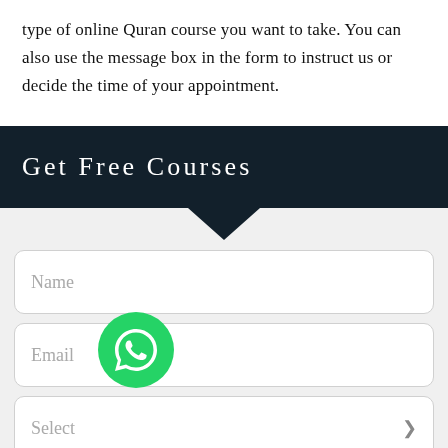type of online Quran course you want to take. You can also use the message box in the form to instruct us or decide the time of your appointment.
Get Free Courses
[Figure (other): WhatsApp floating button icon]
Name
Email
Select